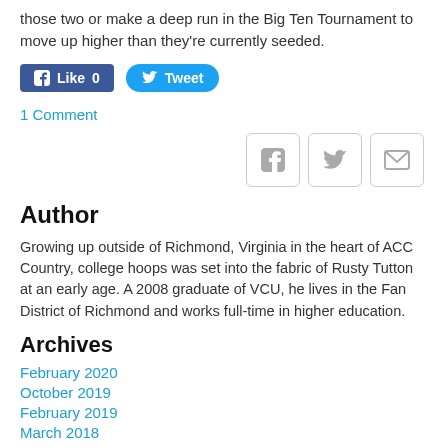those two or make a deep run in the Big Ten Tournament to move up higher than they're currently seeded.
[Figure (other): Facebook Like button (count 0) and Twitter Tweet button]
1 Comment
[Figure (other): Social share icon buttons: Facebook, Twitter, Email]
Author
Growing up outside of Richmond, Virginia in the heart of ACC Country, college hoops was set into the fabric of Rusty Tutton at an early age. A 2008 graduate of VCU, he lives in the Fan District of Richmond and works full-time in higher education.
Archives
February 2020
October 2019
February 2019
March 2018